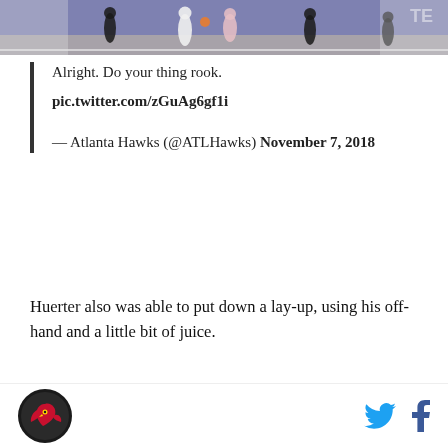[Figure (photo): Basketball game screenshot showing players on court with NBA arena background]
Alright. Do your thing rook.
pic.twitter.com/zGuAg6gf1i

— Atlanta Hawks (@ATLHawks) November 7, 2018
Huerter also was able to put down a lay-up, using his off-hand and a little bit of juice.
[Figure (screenshot): Twitter card showing Atlanta Hawks @ATLHawks account with Follow button and beginning of tweet text 'Waaait for it']